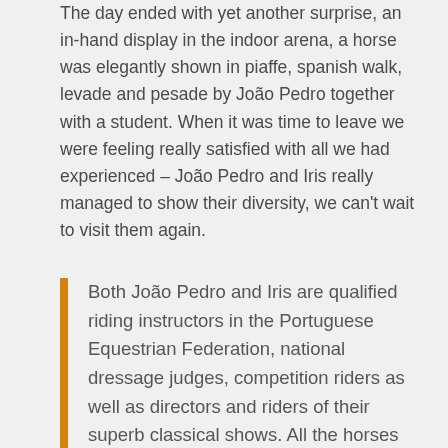The day ended with yet another surprise, an in-hand display in the indoor arena, a horse was elegantly shown in piaffe, spanish walk, levade and pesade by João Pedro together with a student. When it was time to leave we were feeling really satisfied with all we had experienced – João Pedro and Iris really managed to show their diversity, we can't wait to visit them again.
Both João Pedro and Iris are qualified riding instructors in the Portuguese Equestrian Federation, national dressage judges, competition riders as well as directors and riders of their superb classical shows. All the horses at Centro Equestre Lusitanus